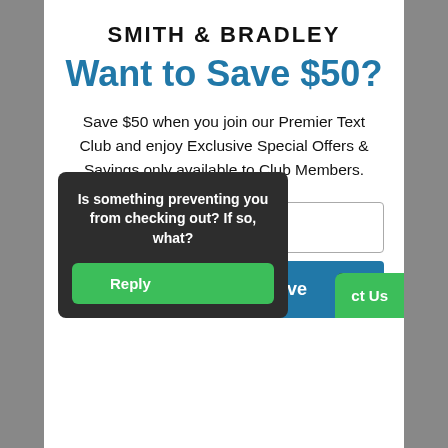SMITH & BRADLEY
Want to Save $50?
Save $50 when you join our Premier Text Club and enjoy Exclusive Special Offers & Savings only available to Club Members.
[Figure (screenshot): Email input field with placeholder text 'Email', a blue 'Join Here and Save' button with a dropdown chevron, a dark popup overlay asking 'Is something preventing you from checking out? If so, what?' with a green 'Reply' button, and a partial green 'ct Us' button at bottom right.]